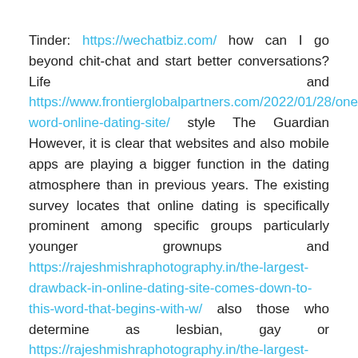Tinder: https://wechatbiz.com/ how can I go beyond chit-chat and start better conversations? Life and https://www.frontierglobalpartners.com/2022/01/28/one-word-online-dating-site/ style The Guardian However, it is clear that websites and also mobile apps are playing a bigger function in the dating atmosphere than in previous years. The existing survey locates that online dating is specifically prominent among specific groups particularly younger grownups and https://rajeshmishraphotography.in/the-largest-drawback-in-online-dating-site-comes-down-to-this-word-that-begins-with-w/ also those who determine as lesbian, gay or https://rajeshmishraphotography.in/the-largest-drawback-in-online-dating-site-comes-down-to-this-word-That-begins-with-w/ bisexual (LGB). About half or Www.tala.dz more of 18- to 29-year-olds (48%) as well as LGB